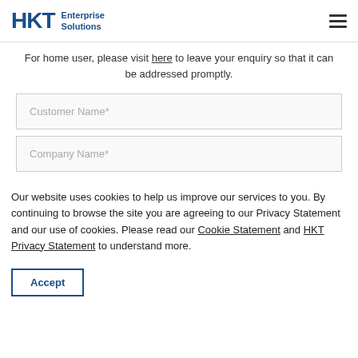HKT Enterprise Solutions
For home user, please visit here to leave your enquiry so that it can be addressed promptly.
Customer Name*
Company Name*
Our website uses cookies to help us improve our services to you. By continuing to browse the site you are agreeing to our Privacy Statement and our use of cookies. Please read our Cookie Statement and HKT Privacy Statement to understand more.
Accept